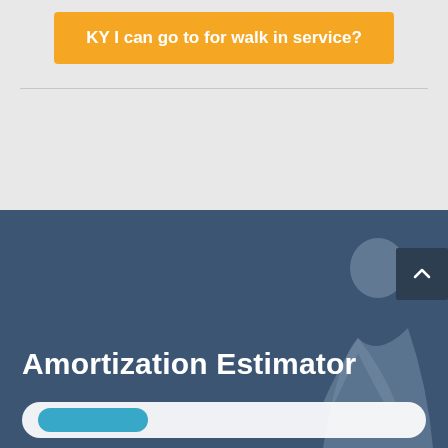KY I can go to for walk in service?
[Figure (screenshot): Blue section with 'Amortization Estimator' heading and a background photo of a person, plus a scroll-up button and a partial input bar at the bottom]
Amortization Estimator